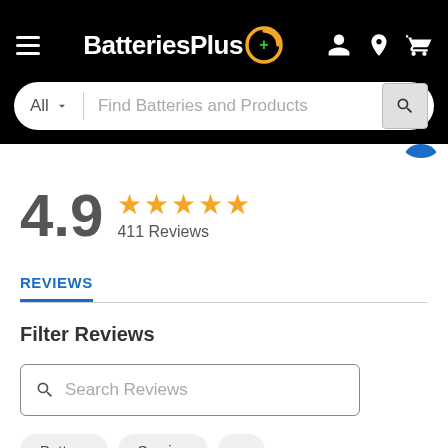BatteriesPlus
All | Find Batteries and Products
4.9 ★★★★★ 411 Reviews
REVIEWS
Filter Reviews
Search Reviews
Battery   Service   ...